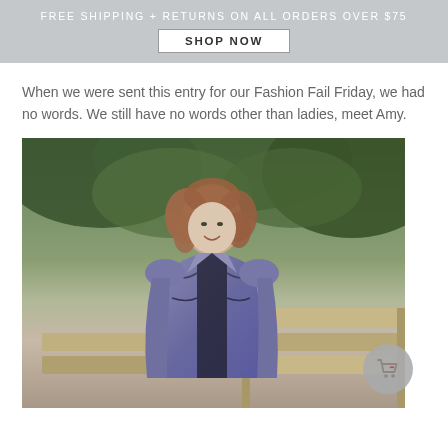FREE SHIPPING + RETURNS ON ALL ORDERS OVER $75
SHOP NOW
When we were sent this entry for our Fashion Fail Friday, we had no words. We still have no words other than ladies, meet Amy.
[Figure (photo): A woman with curly reddish-brown hair smiling, wearing a grey/purple blazer jacket with black embroidery details over a black top, standing outdoors in front of green foliage and a wooden fence/bench structure.]